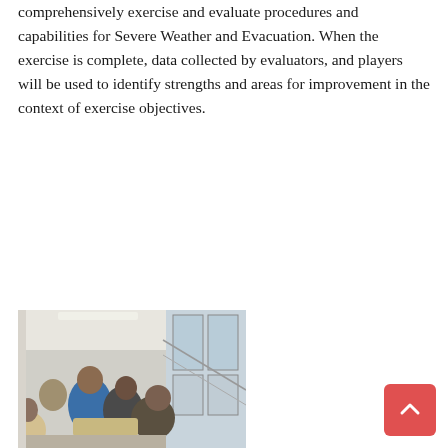comprehensively exercise and evaluate procedures and capabilities for Severe Weather and Evacuation. When the exercise is complete, data collected by evaluators, and players will be used to identify strengths and areas for improvement in the context of exercise objectives.
[Figure (photo): Group of people sitting and discussing in what appears to be an indoor stairwell or corridor area. Several individuals including a person in a blue jacket are visible.]